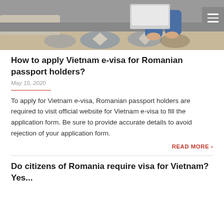[Figure (photo): Overhead view of a person sitting on a couch with a laptop, patterned rug visible below]
How to apply Vietnam e-visa for Romanian passport holders?
May 15, 2020
To apply for Vietnam e-visa, Romanian passport holders are required to visit official website for Vietnam e-visa to fill the application form. Be sure to provide accurate details to avoid rejection of your application form.
READ MORE ›
Do citizens of Romania require visa for Vietnam? Yes...